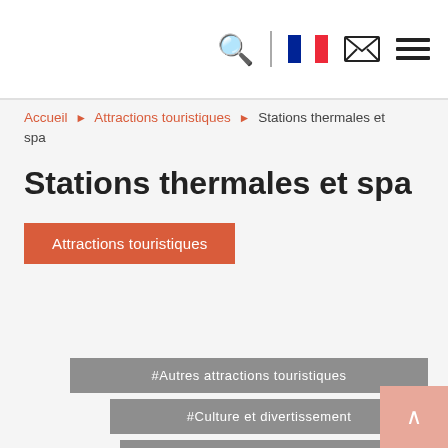Navigation header with search, French flag, mail, and menu icons
Accueil ▶ Attractions touristiques ▶ Stations thermales et spa
Stations thermales et spa
Attractions touristiques
#Autres attractions touristiques
#Culture et divertissement
#Itinéraires touristiques
#Itinéraires touristiques souterrains